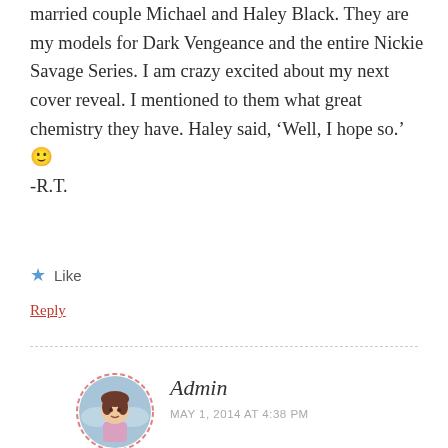married couple Michael and Haley Black. They are my models for Dark Vengeance and the entire Nickie Savage Series. I am crazy excited about my next cover reveal. I mentioned to them what great chemistry they have. Haley said, ‘Well, I hope so.’ 🙂 -R.T.
★ Like
Reply
Admin
MAY 1, 2014 AT 4:38 PM
I don’t consider that cheating at all. I just love her! She fits Nickie to a tee and Duncan…the attitude. Yep, you picked well.